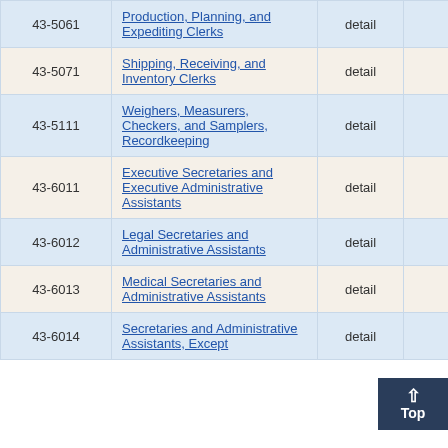| Code | Title | Level | Col4 | Col5 |
| --- | --- | --- | --- | --- |
| 43-5061 | Production, Planning, and Expediting Clerks | detail | 200 | 9 |
| 43-5071 | Shipping, Receiving, and Inventory Clerks | detail | 420 | 4 |
| 43-5111 | Weighers, Measurers, Checkers, and Samplers, Recordkeeping | detail | 60 | 7 |
| 43-6011 | Executive Secretaries and Executive Administrative Assistants | detail | 70 | 13 |
| 43-6012 | Legal Secretaries and Administrative Assistants | detail | 50 | 35 |
| 43-6013 | Medical Secretaries and Administrative Assistants | detail | 50 | 14 |
| 43-6014 | Secretaries and Administrative Assistants, Except | detail | 760 | 2 |